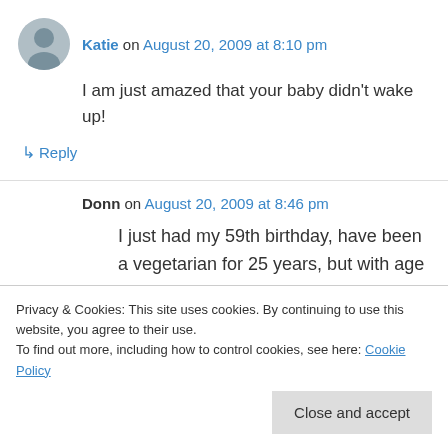[Figure (illustration): Circular avatar photo of a woman named Katie]
Katie on August 20, 2009 at 8:10 pm
I am just amazed that your baby didn't wake up!
↳ Reply
Donn on August 20, 2009 at 8:46 pm
I just had my 59th birthday, have been a vegetarian for 25 years, but with age feel the need to lose 10-15 lb and make my body as
Privacy & Cookies: This site uses cookies. By continuing to use this website, you agree to their use.
To find out more, including how to control cookies, see here: Cookie Policy
Close and accept